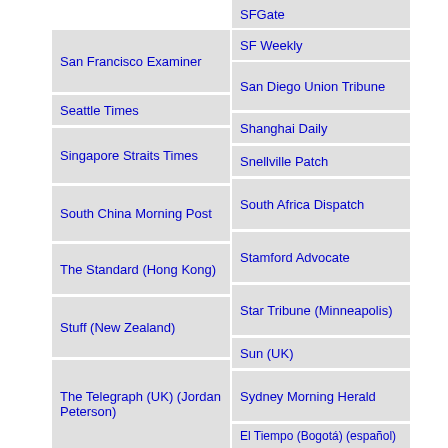SFGate
San Francisco Examiner
SF Weekly
San Diego Union Tribune
Seattle Times
Shanghai Daily
Singapore Straits Times
Snellville Patch
South Africa Dispatch
South China Morning Post
Stamford Advocate
The Standard (Hong Kong)
Star Tribune (Minneapolis)
Stuff (New Zealand)
Sun (UK)
Sydney Morning Herald
The Telegraph (UK) (Jordan Peterson)
El Tiempo (Bogotá) (español)
The Times (UK)